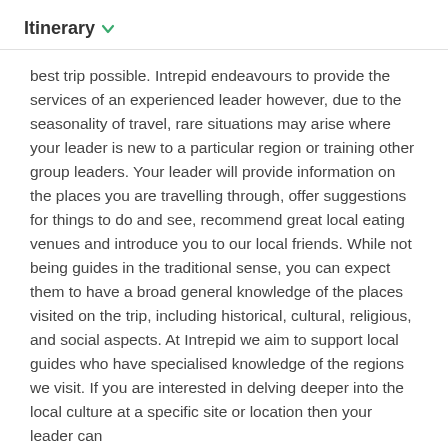Itinerary
best trip possible. Intrepid endeavours to provide the services of an experienced leader however, due to the seasonality of travel, rare situations may arise where your leader is new to a particular region or training other group leaders. Your leader will provide information on the places you are travelling through, offer suggestions for things to do and see, recommend great local eating venues and introduce you to our local friends. While not being guides in the traditional sense, you can expect them to have a broad general knowledge of the places visited on the trip, including historical, cultural, religious, and social aspects. At Intrepid we aim to support local guides who have specialised knowledge of the regions we visit. If you are interested in delving deeper into the local culture at a specific site or location then your leader can